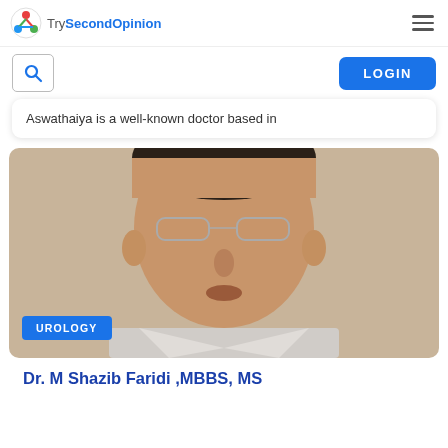TrySecondOpinion
Aswathaiya is a well-known doctor based in
[Figure (photo): Portrait photo of Dr. M Shazib Faridi, a male doctor wearing glasses and a light grey suit, with a UROLOGY specialty badge overlaid at the bottom left of the image.]
Dr. M Shazib Faridi ,MBBS, MS